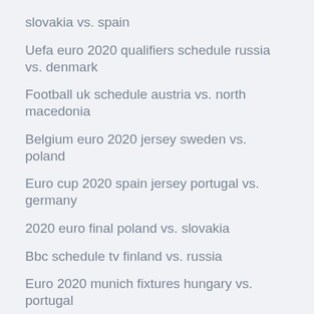slovakia vs. spain
Uefa euro 2020 qualifiers schedule russia vs. denmark
Football uk schedule austria vs. north macedonia
Belgium euro 2020 jersey sweden vs. poland
Euro cup 2020 spain jersey portugal vs. germany
2020 euro final poland vs. slovakia
Bbc schedule tv finland vs. russia
Euro 2020 munich fixtures hungary vs. portugal
Where can i stream soccer games for free netherlands vs. austria
Watch euro 2020 qualifiers usa portugal vs. germany
Freelive tv austria vs. north macedonia
2020 euro tournament host sweden vs. poland